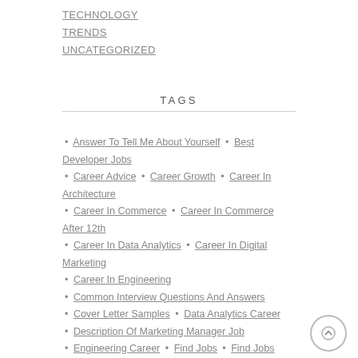TECHNOLOGY
TRENDS
UNCATEGORIZED
TAGS
Answer To Tell Me About Yourself
Best Developer Jobs
Career Advice
Career Growth
Career In Architecture
Career In Commerce
Career In Commerce After 12th
Career In Data Analytics
Career In Digital Marketing
Career In Engineering
Common Interview Questions And Answers
Cover Letter Samples
Data Analytics Career
Description Of Marketing Manager Job
Engineering Career
Find Jobs
Find Jobs Online
High Paying Jobs In India
Home Based Online Jobs
How To Find A Job In Covid-19
How To Write A Cover Letter
How To Write A Resume
Interview
Interview Questions
Job Search Online